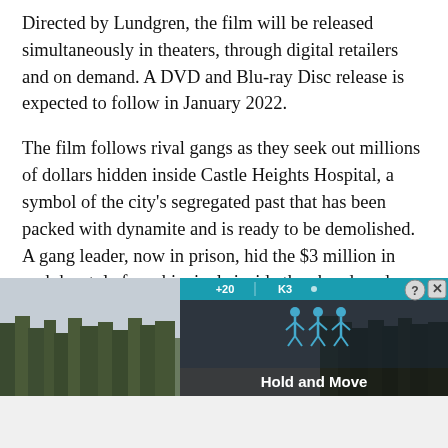Directed by Lundgren, the film will be released simultaneously in theaters, through digital retailers and on demand. A DVD and Blu-ray Disc release is expected to follow in January 2022.
The film follows rival gangs as they seek out millions of dollars hidden inside Castle Heights Hospital, a symbol of the city’s segregated past that has been packed with dynamite and is ready to be demolished. A gang leader, now in prison, hid the $3 million in cash he stole from his rivals inside the abandoned building. Now, three desperate parties want the money — a blue-collared ex-fighter (Adkins) who finds it while working as part of the demolition crew, a prison guard (Lundgren) willing
[Figure (screenshot): Advertisement banner showing a mobile app called 'Hold and Move'. Dark background with teal score bar showing '+20' and 'K3', stick figure icons, and a 'Hold and Move' label over a background of winter trees. Close (X) and help (?) buttons visible.]